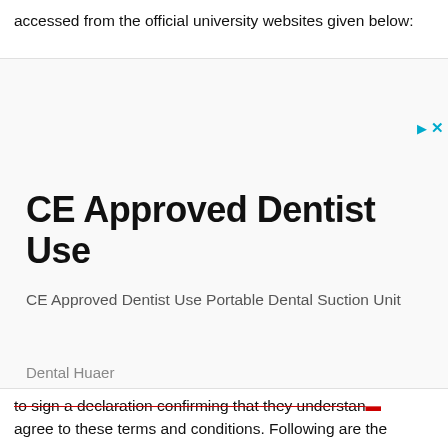accessed from the official university websites given below:
[Figure (screenshot): Advertisement overlay for 'CE Approved Dentist Use' product - CE Approved Dentist Use Portable Dental Suction Unit by Dental Huaer, with an Open button in blue border]
to sign a declaration confirming that they understand agree to these terms and conditions. Following are the